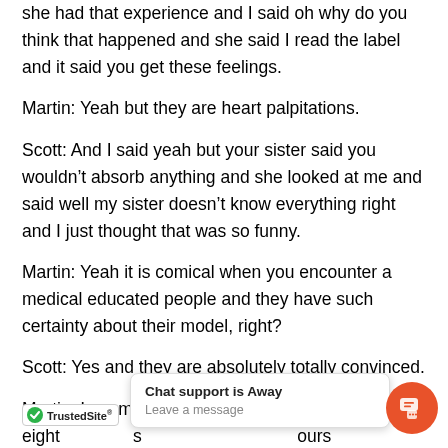she had that experience and I said oh why do you think that happened and she said I read the label and it said you get these feelings.
Martin: Yeah but they are heart palpitations.
Scott: And I said yeah but your sister said you wouldn't absorb anything and she looked at me and said well my sister doesn't know everything right and I just thought that was so funny.
Martin: Yeah it is comical when you encounter a medical educated people and they have such certainty about their model, right?
Scott: Yes and they are absolutely totally convinced.
Martin: In some way … sp eight … s … ours